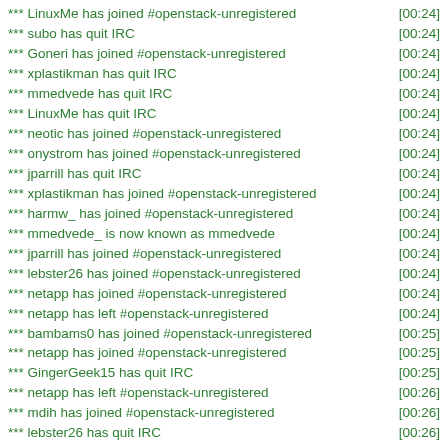*** LinuxMe has joined #openstack-unregistered [00:24]
*** subo has quit IRC [00:24]
*** Goneri has joined #openstack-unregistered [00:24]
*** xplastikman has quit IRC [00:24]
*** mmedvede has quit IRC [00:24]
*** LinuxMe has quit IRC [00:24]
*** neotic has joined #openstack-unregistered [00:24]
*** onystrom has joined #openstack-unregistered [00:24]
*** jparrill has quit IRC [00:24]
*** xplastikman has joined #openstack-unregistered [00:24]
*** harmw_ has joined #openstack-unregistered [00:24]
*** mmedvede_ is now known as mmedvede [00:24]
*** jparrill has joined #openstack-unregistered [00:24]
*** lebster26 has joined #openstack-unregistered [00:24]
*** netapp has joined #openstack-unregistered [00:24]
*** netapp has left #openstack-unregistered [00:24]
*** bambams0 has joined #openstack-unregistered [00:25]
*** netapp has joined #openstack-unregistered [00:25]
*** GingerGeek15 has quit IRC [00:25]
*** netapp has left #openstack-unregistered [00:26]
*** mdih has joined #openstack-unregistered [00:26]
*** lebster26 has quit IRC [00:26]